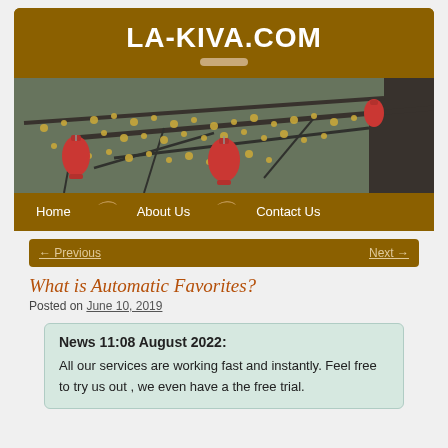LA-KIVA.COM
[Figure (photo): Banner photo of flowering yellow tree branches with red Chinese lanterns hanging from them, dark tree trunk on the right]
Home | About Us | Contact Us
← Previous   Next →
What is Automatic Favorites?
Posted on June 10, 2019
News 11:08 August 2022:
All our services are working fast and instantly. Feel free to try us out , we even have a the free trial.